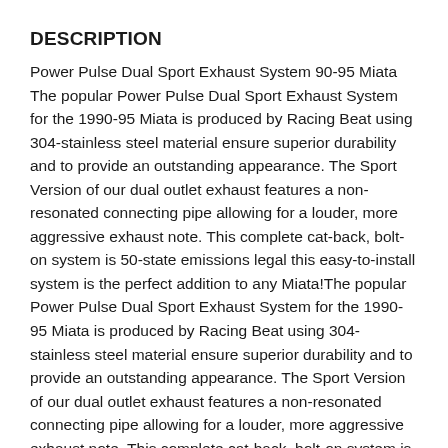DESCRIPTION
Power Pulse Dual Sport Exhaust System 90-95 Miata The popular Power Pulse Dual Sport Exhaust System for the 1990-95 Miata is produced by Racing Beat using 304-stainless steel material ensure superior durability and to provide an outstanding appearance. The Sport Version of our dual outlet exhaust features a non-resonated connecting pipe allowing for a louder, more aggressive exhaust note. This complete cat-back, bolt-on system is 50-state emissions legal this easy-to-install system is the perfect addition to any Miata!The popular Power Pulse Dual Sport Exhaust System for the 1990-95 Miata is produced by Racing Beat using 304-stainless steel material ensure superior durability and to provide an outstanding appearance. The Sport Version of our dual outlet exhaust features a non-resonated connecting pipe allowing for a louder, more aggressive exhaust note. This complete cat-back, bolt-on system is 50-state emissions legal this easy-to-install system is the perfect addition to